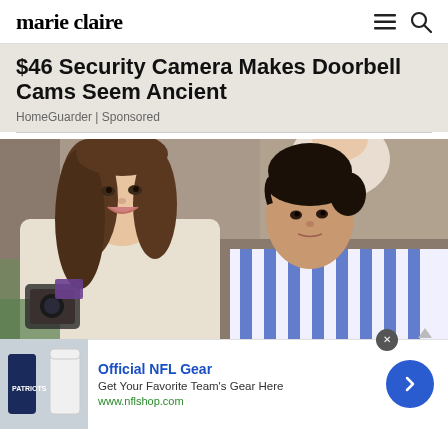marie claire
$46 Security Camera Makes Doorbell Cams Seem Ancient
HomeGuarder | Sponsored
[Figure (photo): Two women sitting together at what appears to be a sporting event. The woman on the left has long brown hair and is smiling, the woman on the right has dark hair in an updo and is wearing a blue and white striped shirt.]
Official NFL Gear
Get Your Favorite Team's Gear Here
www.nflshop.com